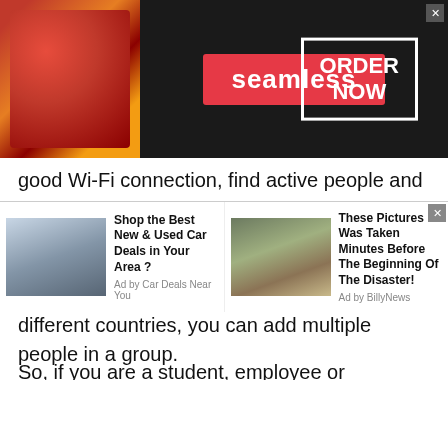[Figure (screenshot): Seamless food delivery advertisement banner with pizza image on left, red Seamless logo in center, and ORDER NOW button on right with dark background]
good Wi-Fi connection, find active people and start a stranger chat free of cost. And one great advantage is you can talk to more than 25 people at a time. Yes, whether you need to talk to strangers in Uganda or people from different countries, you can add multiple people in a group.
So, if you are a student, employee or businessman, why not avail the perks of this free conference calling app? Isn't it great to have a group study, family group call, business meeting call while sitting
[Figure (screenshot): Bottom advertisement strip with two ads: 'Shop the Best New & Used Car Deals in Your Area?' by Car Deals Near You, and 'These Pictures Was Taken Minutes Before The Beginning Of The Disaster!' by BillyNews]